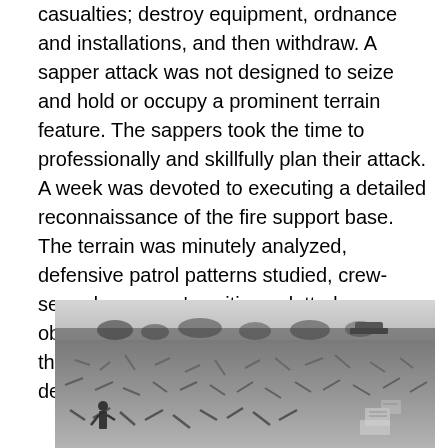casualties; destroy equipment, ordnance and installations, and then withdraw. A sapper attack was not designed to seize and hold or occupy a prominent terrain feature. The sappers took the time to professionally and skillfully plan their attack. A week was devoted to executing a detailed reconnaissance of the fire support base. The terrain was minutely analyzed, defensive patrol patterns studied, crew-served weapons' positions plotted, obstacles sketched and estimates made of the time that would be required to breach defensive barriers.
[Figure (photo): Black and white photograph showing a large field of expended shell casings and debris covering the ground. A soldier or figure is visible among the debris. A military vehicle is visible in the background on the horizon. Some boxes or equipment visible in the lower right.]